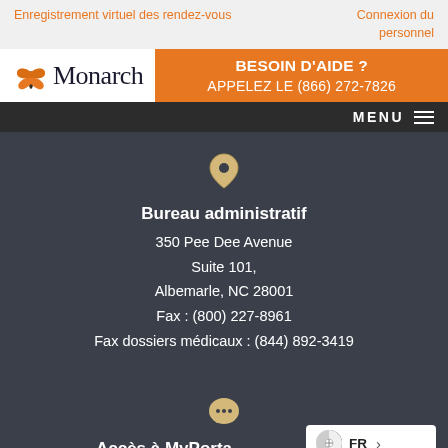Enregistrement virtuel des rendez-vous   Connexion du personnel
[Figure (logo): Monarch logo with butterfly icon and text 'Monarch']
BESOIN D'AIDE ? APPELEZ LE (866) 272-7826
MENU
Bureau administratif
350 Pee Dee Avenue
Suite 101,
Albemarle, NC 28001
Fax : (800) 227-8961
Fax dossiers médicaux : (844) 892-3419
Accès à MyPorta
FR